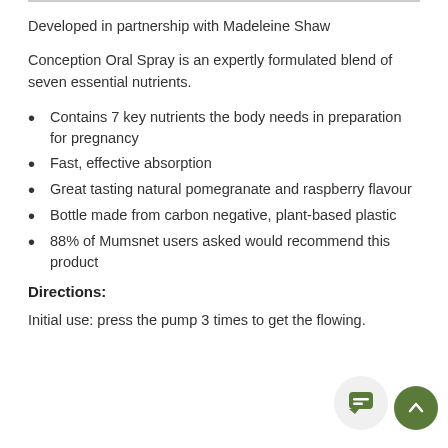Developed in partnership with Madeleine Shaw
Conception Oral Spray is an expertly formulated blend of seven essential nutrients.
Contains 7 key nutrients the body needs in preparation for pregnancy
Fast, effective absorption
Great tasting natural pomegranate and raspberry flavour
Bottle made from carbon negative, plant-based plastic
88% of Mumsnet users asked would recommend this product
Directions:
Initial use: press the pump 3 times to get the flowing.